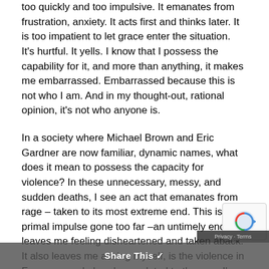too quickly and too impulsive. It emanates from frustration, anxiety. It acts first and thinks later. It is too impatient to let grace enter the situation. It's hurtful. It yells. I know that I possess the capability for it, and more than anything, it makes me embarrassed. Embarrassed because this is not who I am. And in my thought-out, rational opinion, it's not who anyone is.
In a society where Michael Brown and Eric Gardner are now familiar, dynamic names, what does it mean to possess the capacity for violence? In these unnecessary, messy, and sudden deaths, I see an act that emanates from rage – taken to its most extreme end. This is a primal impulse gone too far –an untimely end that leaves me feeling disheartened and taken aback. It also leaves me asking myself, is the violence in Ferguson and elsewhere related to the rage I've rise within me? My impatience at something going awry seems a long way from an extreme phys...